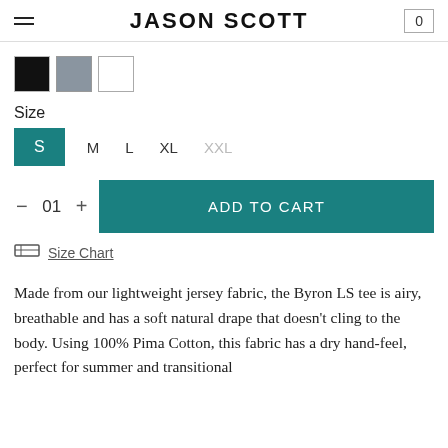JASON SCOTT
Color swatches: black, gray, white
Size
Size options: S (selected), M, L, XL, XXL
01
ADD TO CART
Size Chart
Made from our lightweight jersey fabric, the Byron LS tee is airy, breathable and has a soft natural drape that doesn't cling to the body. Using 100% Pima Cotton, this fabric has a dry hand-feel, perfect for summer and transitional